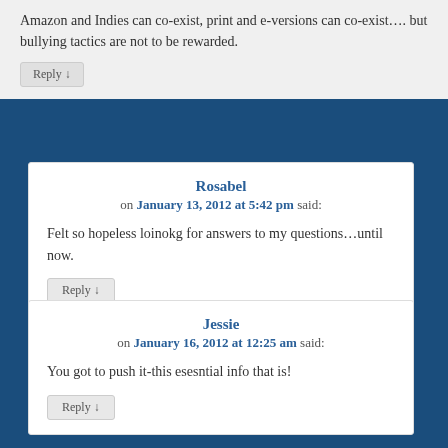Amazon and Indies can co-exist, print and e-versions can co-exist…. but bullying tactics are not to be rewarded.
Reply ↓
Rosabel
on January 13, 2012 at 5:42 pm said:
Felt so hopeless loinokg for answers to my questions…until now.
Reply ↓
Jessie
on January 16, 2012 at 12:25 am said:
You got to push it-this esesntial info that is!
Reply ↓